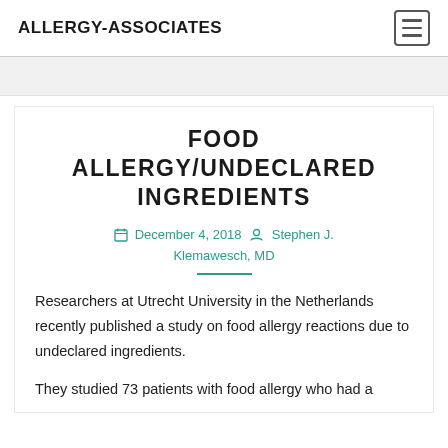ALLERGY-ASSOCIATES
FOOD ALLERGY/UNDECLARED INGREDIENTS
December 4, 2018  Stephen J. Klemawesch, MD
Researchers at Utrecht University in the Netherlands recently published a study on food allergy reactions due to undeclared ingredients.
They studied 73 patients with food allergy who had a